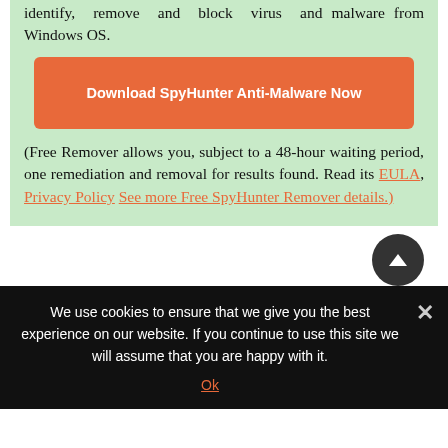identify, remove and block virus and malware from Windows OS.
[Figure (other): Orange download button labeled 'Download SpyHunter Anti-Malware Now']
(Free Remover allows you, subject to a 48-hour waiting period, one remediation and removal for results found. Read its EULA, Privacy Policy See more Free SpyHunter Remover details.)
We use cookies to ensure that we give you the best experience on our website. If you continue to use this site we will assume that you are happy with it.
Ok